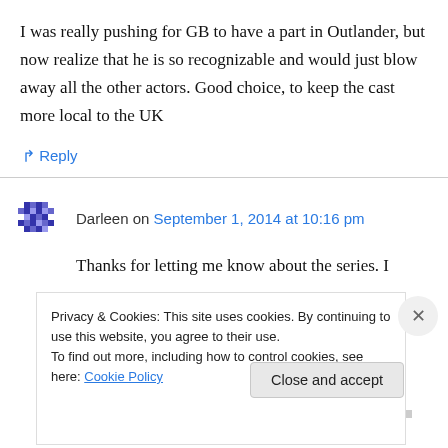I was really pushing for GB to have a part in Outlander, but now realize that he is so recognizable and would just blow away all the other actors. Good choice, to keep the cast more local to the UK
↳ Reply
Darleen on September 1, 2014 at 10:16 pm
Thanks for letting me know about the series. I
Privacy & Cookies: This site uses cookies. By continuing to use this website, you agree to their use.
To find out more, including how to control cookies, see here: Cookie Policy
Close and accept